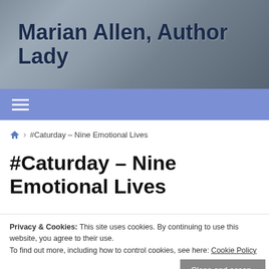Marian Allen, Author Lady
Navigation menu (hamburger icon)
🏠 > #Caturday – Nine Emotional Lives
#Caturday – Nine Emotional Lives
Privacy & Cookies: This site uses cookies. By continuing to use this website, you agree to their use.
To find out more, including how to control cookies, see here: Cookie Policy
My mother listens to a lot of books on CD. The one she's listening to — and